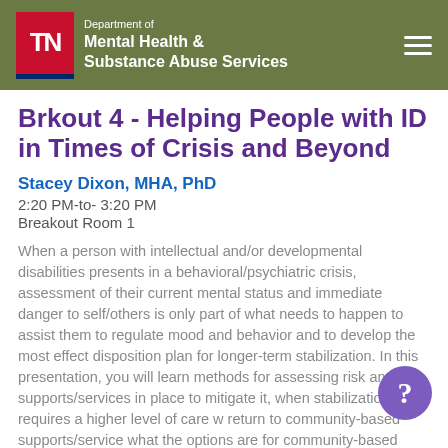TN Department of Mental Health & Substance Abuse Services
Brkout 4 - Helping People with ID in Times of Crisis and Beyond
Stacey Dixon, MHA, PhD
2:20 PM-to- 3:20 PM
Breakout Room 1
When a person with intellectual and/or developmental disabilities presents in a behavioral/psychiatric crisis, assessment of their current mental status and immediate danger to self/others is only part of what needs to happen to assist them to regulate mood and behavior and to develop the most effect disposition plan for longer-term stabilization. In this presentation, you will learn methods for assessing risk and the supports/services in place to mitigate it, when stabilization requires a higher level of care w return to community-based supports/service what the options are for community-based stabilization in Tennessee.